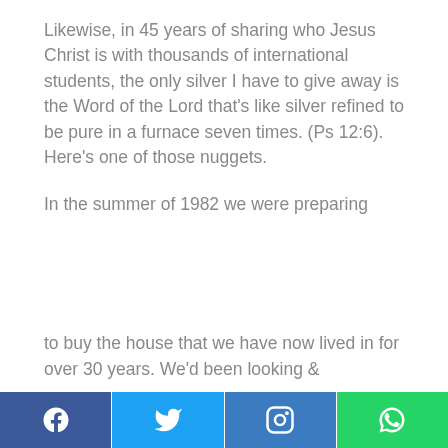Likewise, in 45 years of sharing who Jesus Christ is with thousands of international students, the only silver I have to give away is the Word of the Lord that's like silver refined to be pure in a furnace seven times. (Ps 12:6). Here's one of those nuggets.
In the summer of 1982 we were preparing
to buy the house that we have now lived in for over 30 years. We'd been looking &